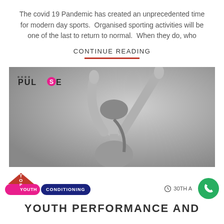The covid 19 Pandemic has created an unprecedented time for modern day sports. Organised sporting activities will be one of the last to return to normal. When they do, who
CONTINUE READING
[Figure (photo): Black and white photo of a young woman/girl stretching with arms raised above her head, with a Pulse fitness logo in the top left corner]
YOUTH CONDITIONING  30TH A...
YOUTH PERFORMANCE AND